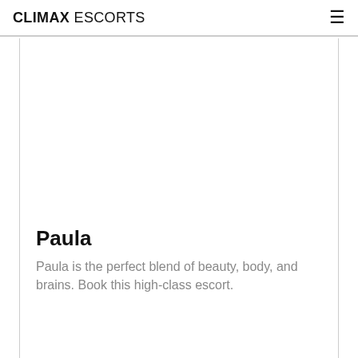CLIMAX ESCORTS
[Figure (photo): Large white/blank image placeholder area for escort profile photo]
Paula
Paula is the perfect blend of beauty, body, and brains. Book this high-class escort.